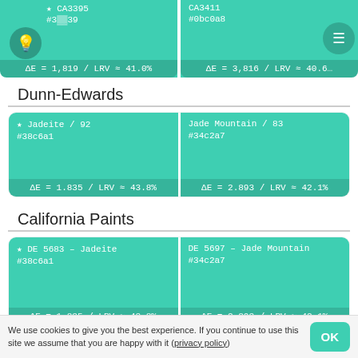[Figure (screenshot): Top partial color card row showing CA3395 and CA3411 paint colors with hex codes and delta E / LRV values]
Dunn-Edwards
| ★ Jadeite / 92 | Jade Mountain / 83 |
| #38c6a1 | #34c2a7 |
| ΔE = 1.835 / LRV ≈ 43.8% | ΔE = 2.893 / LRV ≈ 42.1% |
California Paints
| ★ DE 5683 – Jadeite | DE 5697 – Jade Mountain |
| #38c6a1 | #34c2a7 |
| ΔE = 1.835 / LRV ≈ 43.8% | ΔE = 2.893 / LRV ≈ 42.1% |
Peintures MF
| ★ Menthe aristocrate | Hercule |
| #38c6a3 | #41c495 |
| ΔE = 1.852 / LRV ≈ 43.9% | ΔE = 3.957 / LRV ≈ 42.8% |
We use cookies to give you the best experience. If you continue to use this site we assume that you are happy with it (privacy policy)